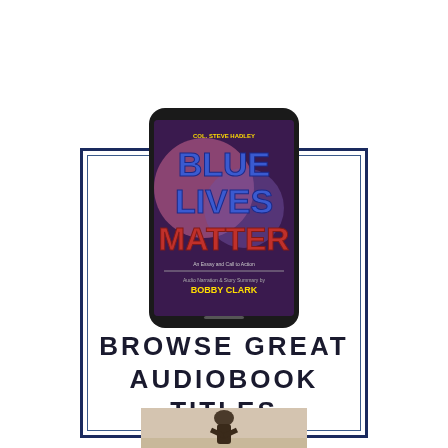[Figure (illustration): A smartphone displaying the audiobook cover of 'Blue Lives Matter' by Col. Steve Hadley, narrated by Bobby Clark, shown against a dark background with colorful cover art.]
BROWSE GREAT AUDIOBOOK TITLES
[Figure (photo): Partial image of a person silhouette visible at the bottom of the page, cropped.]